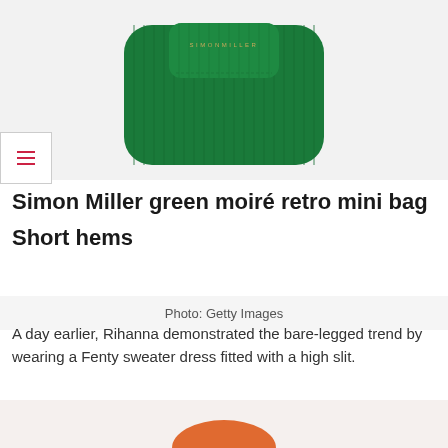[Figure (photo): Simon Miller green moire retro mini bag product photo on light grey background]
Simon Miller green moiré retro mini bag
Short hems
Photo: Getty Images
A day earlier, Rihanna demonstrated the bare-legged trend by wearing a Fenty sweater dress fitted with a high slit.
[Figure (photo): Partial view of an orange item at the bottom of the page, cropped]